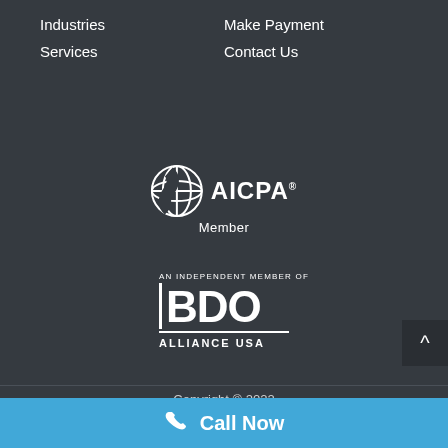Industries
Make Payment
Services
Contact Us
[Figure (logo): AICPA Member logo — circular globe icon with AICPA text and 'Member' below]
[Figure (logo): BDO Alliance USA logo — vertical bar with BDO letters and 'AN INDEPENDENT MEMBER OF' above, 'ALLIANCE USA' below]
Copyright © 2022
Call Now